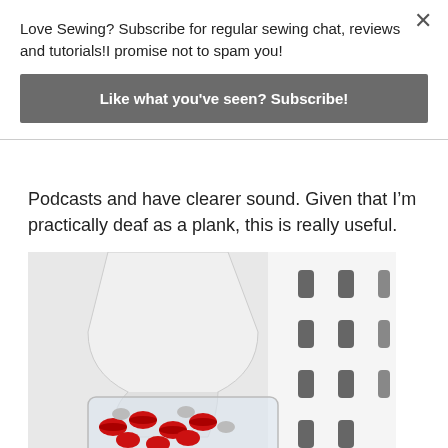Love Sewing? Subscribe for regular sewing chat, reviews and tutorials!I promise not to spam you!
Like what you've seen? Subscribe!
Podcasts and have clearer sound. Given that I'm practically deaf as a plank, this is really useful.
[Figure (photo): A white cone/funnel-shaped object next to a white perforated pegboard panel, with a clear container filled with red and silver bobbins or sewing notions in the foreground.]